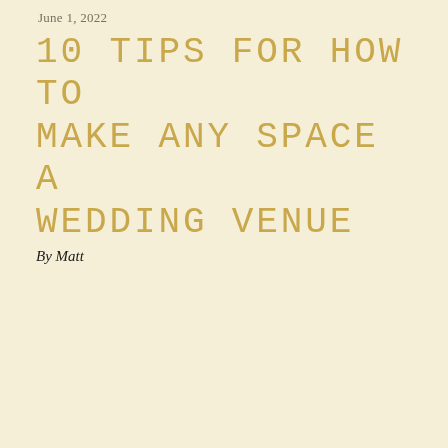June 1, 2022
10 tips for how to make any space a wedding venue
By Matt